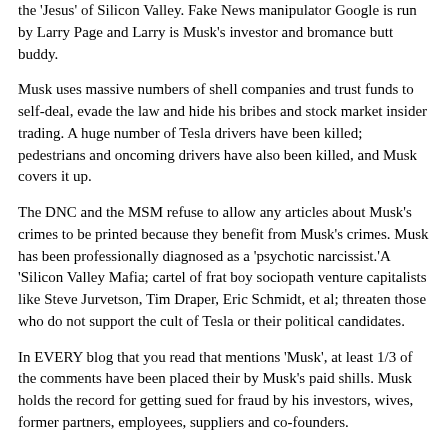the 'Jesus' of Silicon Valley. Fake News manipulator Google is run by Larry Page and Larry is Musk's investor and bromance butt buddy.
Musk uses massive numbers of shell companies and trust funds to self-deal, evade the law and hide his bribes and stock market insider trading. A huge number of Tesla drivers have been killed; pedestrians and oncoming drivers have also been killed, and Musk covers it up.
The DNC and the MSM refuse to allow any articles about Musk's crimes to be printed because they benefit from Musk's crimes. Musk has been professionally diagnosed as a 'psychotic narcissist.'A 'Silicon Valley Mafia; cartel of frat boy sociopath venture capitalists like Steve Jurvetson, Tim Draper, Eric Schmidt, et al; threaten those who do not support the cult of Tesla or their political candidates.
In EVERY blog that you read that mentions 'Musk', at least 1/3 of the comments have been placed their by Musk's paid shills. Musk holds the record for getting sued for fraud by his investors, wives, former partners, employees, suppliers and co-founders.
Elon Musk has gone out of his way to hire hundreds of ex-CIA staff and assign them to "dirty tricks teams" to attack his competitors and elected officials who Musk hates. Musk never